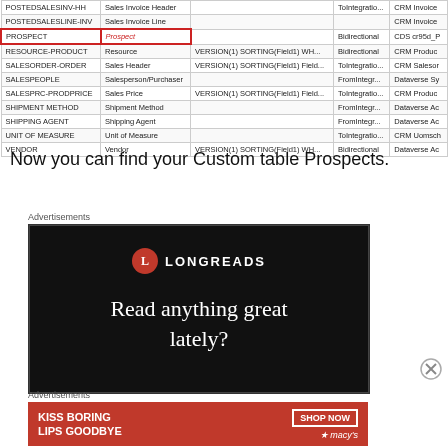|  |  |  |  |  |
| --- | --- | --- | --- | --- |
| POSTEDSALESINV-HH | Sales Invoice Header |  | ToIntegratio... | CRM Invoice |
| POSTEDSALESLINE-INV | Sales Invoice Line |  |  | CRM Invoice |
| PROSPECT | Prospect |  | Bidirectional | CDS cr95d_P |
| RESOURCE-PRODUCT | Resource | VERSION(1) SORTING(Field1) WH... | Bidirectional | CRM Produc |
| SALESORDER-ORDER | Sales Header | VERSION(1) SORTING(Field1) Field... | ToIntegratio... | CRM Salesor |
| SALESPEOPLE | Salesperson/Purchaser |  | FromIntegr... | Dataverse Sy |
| SALESPRC-PRODPRICE | Sales Price | VERSION(1) SORTING(Field1) Field... | ToIntegratio... | CRM Produc |
| SHIPMENT METHOD | Shipment Method |  | FromIntegr... | Dataverse Ac |
| SHIPPING AGENT | Shipping Agent |  | FromIntegr... | Dataverse Ac |
| UNIT OF MEASURE | Unit of Measure |  | ToIntegratio... | CRM Uomsch |
| VENDOR | Vendor | VERSION(1) SORTING(Field1) WH... | Bidirectional | Dataverse Ac |
Now you can find your Custom table Prospects.
Advertisements
[Figure (other): Longreads advertisement with black background, red circle logo with 'L', text 'LONGREADS', tagline 'Read anything great lately?']
Advertisements
[Figure (other): Macy's advertisement with red background, text 'KISS BORING LIPS GOODBYE', 'SHOP NOW' button, Macy's star logo]